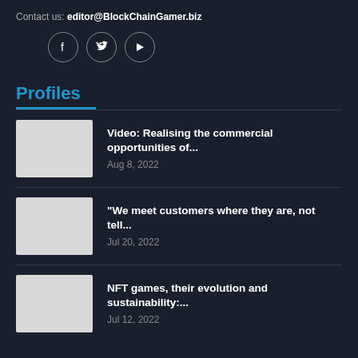Contact us: editor@BlockChainGamer.biz
[Figure (other): Social media icons: Facebook (f), Twitter (bird), YouTube (play button), each in a circular outlined button]
Profiles
[Figure (photo): Thumbnail image placeholder (light gray rectangle)]
Video: Realising the commercial opportunities of...
Aug 8, 2022
[Figure (photo): Thumbnail image placeholder (light gray rectangle)]
"We meet customers where they are, not tell...
Jul 20, 2022
[Figure (photo): Thumbnail image placeholder (light gray rectangle)]
NFT games, their evolution and sustainability:...
Jul 12, 2022